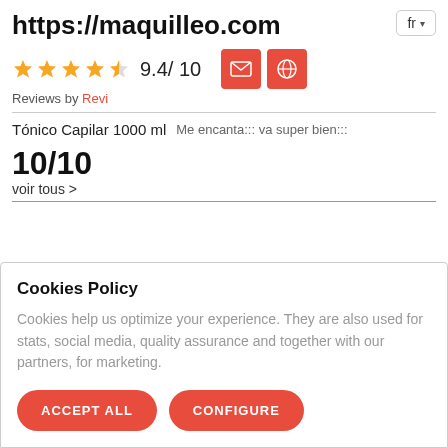https://maquilleo.com
[Figure (infographic): Star rating: 4.5 out of 5 stars (gold), score 9.4/10, with email and website icon buttons in red, and a language selector button showing 'fr' with dropdown arrow]
Reviews by Revi
Me encanta::: va super bien:::
Tónico Capilar 1000 ml
10/10
voir tous >
Cookies Policy
Cookies help us optimize your experience. They are also used for stats, social media, quality assurance and together with our partners, for marketing.
ACCEPT ALL   CONFIGURE